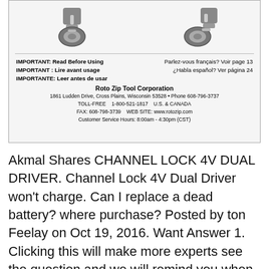[Figure (photo): Two Roto Zip / Channel Lock tool images side by side at the top of a scanned manual page]
IMPORTANT: Read Before Using
IMPORTANT : Lire avant usage
IMPORTANTE: Leer antes de usar
Parlez-vous français? Voir page 13
¿Habla español? Ver página 24
Roto Zip Tool Corporation
1861 Ludden Drive, Cross Plains, Wisconsin 53528 • Phone 608-796-3737
TOLL-FREE   1-800-521-1817   U.S. & CANADA
FAX: 608-798-3739   WEB SITE: www.rotozip.com
Customer Service Hours: 8:00am - 4:30pm (CST)
Akmal Shares CHANNEL LOCK 4V DUAL DRIVER. Channel Lock 4V Dual Driver won't charge. Can I replace a dead battery? where purchase? Posted by ton Feelay on Oct 19, 2016. Want Answer 1. Clicking this will make more experts see the question and we will remind you when it gets answered., Instruction Manual Channellock 4V Dual Driver XL Model No